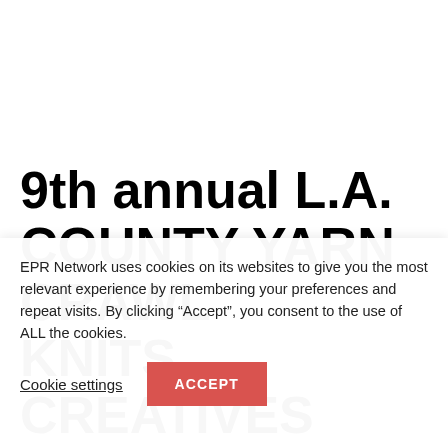[Figure (other): White blank top content area of a webpage]
9th annual L.A. COUNTY YARN CRAWL KNITS CREATIVES
EPR Network uses cookies on its websites to give you the most relevant experience by remembering your preferences and repeat visits. By clicking “Accept”, you consent to the use of ALL the cookies.
Cookie settings
ACCEPT